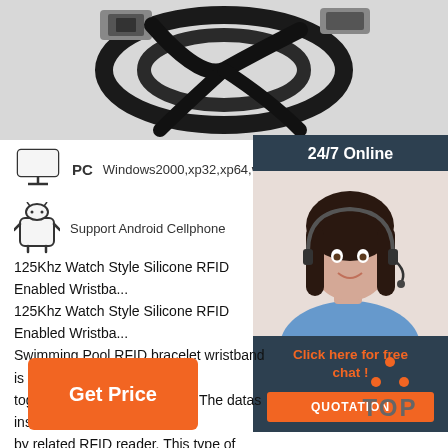[Figure (photo): Photo of USB cables coiled on white background, cropped at top of page]
PC   Windows2000,xp32,xp64,win10 ,win7, vista...
Support Android Cellphone
[Figure (photo): Customer service agent (woman with headset smiling) with '24/7 Online' header, 'Click here for free chat!' label, and orange QUOTATION button]
125Khz Watch Style Silicone RFID Enabled Wristba...
125Khz Watch Style Silicone RFID Enabled Wristba...
Swimming Pool RFID bracelet wristband is made of... together with 13.56MHz chip. The datas inside the c... by related RFID reader. This type of wristband is co... can be used in many circumstances. For instance, it can be used for access control in residential area.
Get Price
[Figure (logo): TOP icon with orange dots forming a triangle above the word TOP in gray]